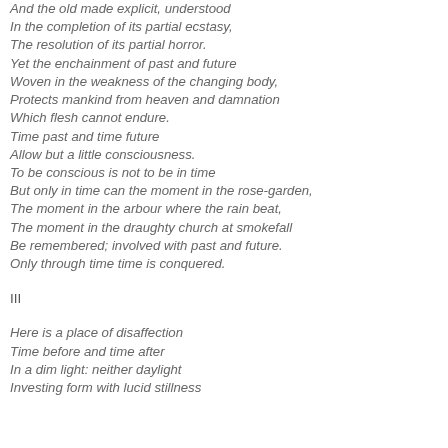And the old made explicit, understood
In the completion of its partial ecstasy,
The resolution of its partial horror.
Yet the enchainment of past and future
Woven in the weakness of the changing body,
Protects mankind from heaven and damnation
Which flesh cannot endure.
Time past and time future
Allow but a little consciousness.
To be conscious is not to be in time
But only in time can the moment in the rose-garden,
The moment in the arbour where the rain beat,
The moment in the draughty church at smokefall
Be remembered; involved with past and future.
Only through time time is conquered.
III
Here is a place of disaffection
Time before and time after
In a dim light: neither daylight
Investing form with lucid stillness